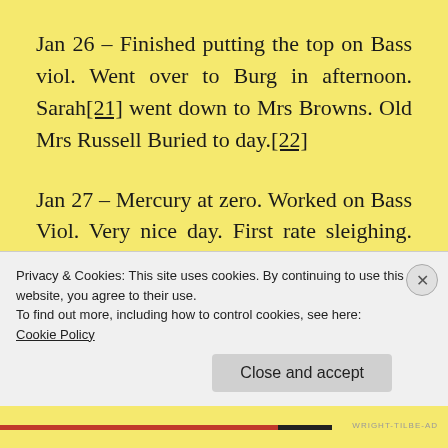Jan 26 – Finished putting the top on Bass viol. Went over to Burg in afternoon. Sarah[21] went down to Mrs Browns. Old Mrs Russell Buried to day.[22]
Jan 27 – Mercury at zero. Worked on Bass Viol. Very nice day. First rate sleighing. Jim worked for Vansickler and Stilson.
Jan 28 – Went over to Burg Bot flooring and ceiling for Kitchen $1.00. Took Bass Viol...
Privacy & Cookies: This site uses cookies. By continuing to use this website, you agree to their use. To find out more, including how to control cookies, see here: Cookie Policy